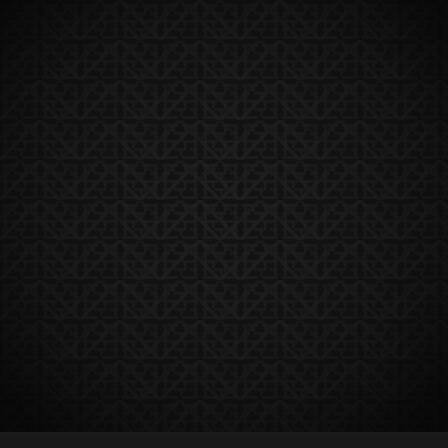[Figure (illustration): Dark decorative background page with a repeating chevron/herringbone maze-like geometric pattern in very dark charcoal tones on a near-black background. A thin dark gray horizontal bar appears at the very bottom of the page.]